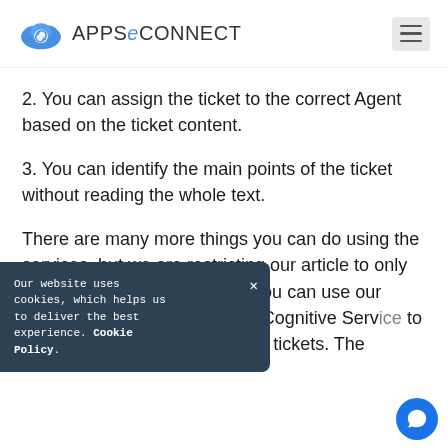APPSeCONNECT
2. You can assign the ticket to the correct Agent based on the ticket content.
3. You can identify the main points of the ticket without reading the whole text.
There are many more things you can do using the services, but we are restricting our article to only these. we will show you how you can use our REST connector to connect a Cognitive Service to get business intelligence of the tickets. The
Our website uses cookies, which helps us to deliver the best experience. Cookie Policy.